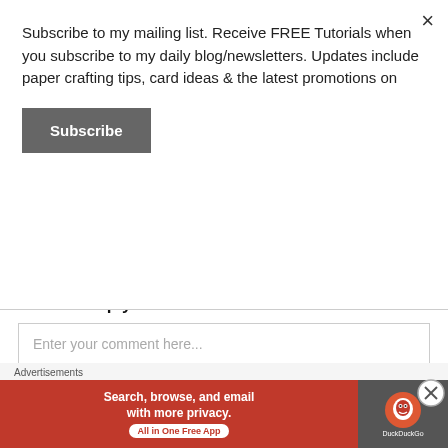Subscribe to my mailing list. Receive FREE Tutorials when you subscribe to my daily blog/newsletters. Updates include paper crafting tips, card ideas & the latest promotions on
Subscribe
Butterfly Bouquet and Flutter Away!
Next Post »
March Events
Leave a Reply
Enter your comment here...
Advertisements
[Figure (other): DuckDuckGo advertisement banner: Search, browse, and email with more privacy. All in One Free App]